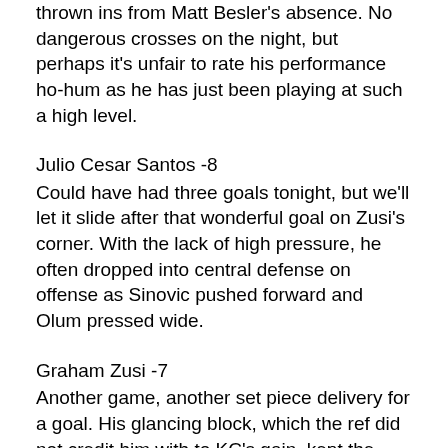thrown ins from Matt Besler's absence. No dangerous crosses on the night, but perhaps it's unfair to rate his performance ho-hum as he has just been playing at such a high level.
Julio Cesar Santos -8
Could have had three goals tonight, but we'll let it slide after that wonderful goal on Zusi's corner. With the lack of high pressure, he often dropped into central defense on offense as Sinovic pushed forward and Olum pressed wide.
Graham Zusi -7
Another game, another set piece delivery for a goal. His glancing block, which the ref did not credit him with to KC's gain, kept the clean sheet and allowed the game to never get tight. He would have been a man of the match consideration, but he missed a free header